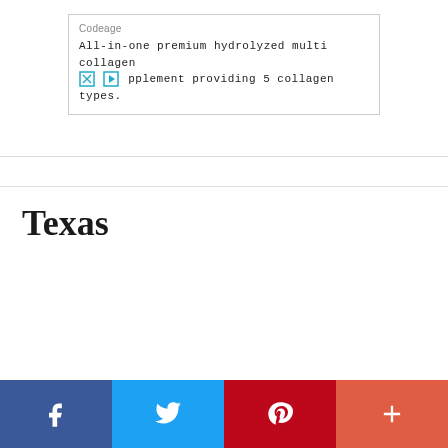[Figure (screenshot): Advertisement box for Codeage supplement product. Company name 'Codeage' at top, ad text reads 'All-in-one premium hydrolyzed multi collagen supplement providing 5 collagen types.' with small close/play icons visible.]
Texas
[Figure (infographic): Social media share bar at bottom with four buttons: Facebook (dark blue), Twitter (light blue), Pinterest (dark red), and a plus/more button (coral/orange-red).]